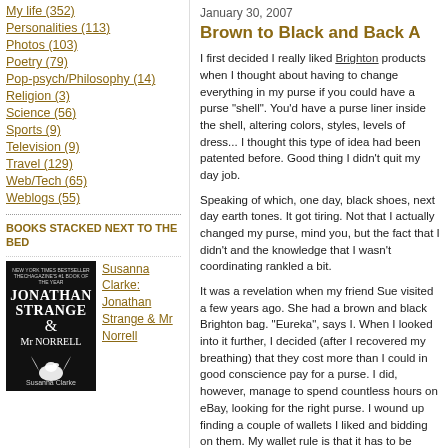My life (352)
Personalities (113)
Photos (103)
Poetry (79)
Pop-psych/Philosophy (14)
Religion (3)
Science (56)
Sports (9)
Television (9)
Travel (129)
Web/Tech (65)
Weblogs (55)
BOOKS STACKED NEXT TO THE BED
[Figure (photo): Book cover of Jonathan Strange & Mr Norrell by Susanna Clarke, dark cover with bird silhouette]
Susanna Clarke: Jonathan Strange & Mr Norrell
January 30, 2007
Brown to Black and Back A
I first decided I really liked Brighton products when I thought about having to change everything in my purse if you could have a purse "shell". You'd have a purse liner inside the shell, altering colors, styles, levels of dress... I thought this type of idea had been patented before. Good thing I didn't quit my day job.
Speaking of which, one day, black shoes, next day earth tones. It got tiring. Not that I actually changed my purse, mind you, but the fact that I didn't and the knowledge that I wasn't coordinating rankled a bit.
It was a revelation when my friend Sue visited a few years ago. She had a brown and black Brighton bag. "Eureka", says I. When I looked into it further, I decided (after I recovered my breathing) that they cost more than I could in good conscience pay for a purse. I did, however, manage to spend countless hours on eBay, looking for the right purse. I wound up finding a couple of wallets I liked and bidding on them. My wallet rule is that it has to be narrow enough that I can take it out of the purse and slip it into my jeans if I don't feel like carrying a purse. I found just the right one.
Anyway, to make a long story even longer, last Spring, a friend gave me the perfect Brighton purse. She said it was to make up for my not carrying it for a year now, and it still looks b... on purses...or clothes, or shoes...but I digre... decide to wear bright blue, which, for some...